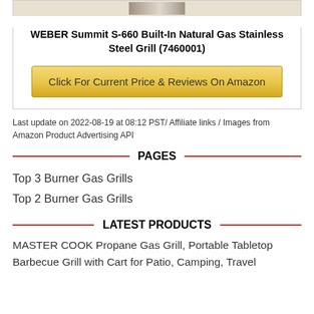[Figure (photo): Product image of WEBER Summit S-660 Built-In Natural Gas Stainless Steel Grill at top of product box]
WEBER Summit S-660 Built-In Natural Gas Stainless Steel Grill (7460001)
Click For Current Price & Reviews On Amazon
Last update on 2022-08-19 at 08:12 PST/ Affiliate links / Images from Amazon Product Advertising API
PAGES
Top 3 Burner Gas Grills
Top 2 Burner Gas Grills
LATEST PRODUCTS
MASTER COOK Propane Gas Grill, Portable Tabletop Barbecue Grill with Cart for Patio, Camping, Travel